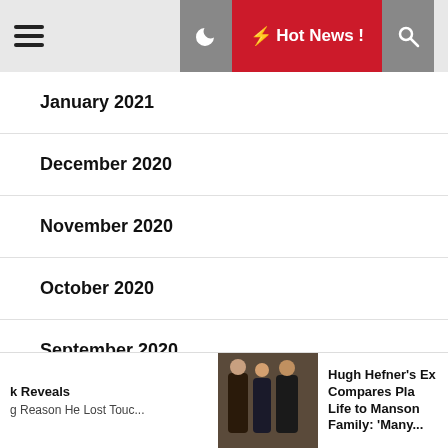Hot News !
January 2021
December 2020
November 2020
October 2020
September 2020
August 2020
January 2020
k Reveals g Reason He Lost Touc... | Hugh Hefner's Ex Compares Pla Life to Manson Family: 'Many...